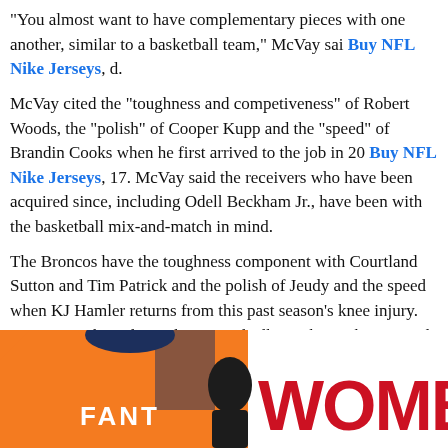“You almost want to have complementary pieces with one another, similar to a basketball team,” McVay sai Buy NFL Nike Jerseys, d.
McVay cited the “toughness and competiveness” of Robert Woods, the “polish” of Cooper Kupp and the “speed” of Brandin Cooks when he first arrived to the job in 20 Buy NFL Nike Jerseys, 17. McVay said the receivers who have been acquired since, including Odell Beckham Jr., have been with the basketball mix-and-match in mind.
The Broncos have the toughness component with Courtland Sutton and Tim Patrick and the polish of Jeudy and the speed when KJ Hamler returns from this past season’s knee injury. Factor in tight ends Noah Fant and Albert Okwuegbunam and the Broncos have, already in-house before an offseason move is made, what McVay outlined as the the best kind of starting point.
[Figure (photo): Orange Denver Broncos jersey with FANT on the back, and partially visible red text reading WOMEN on the right side]